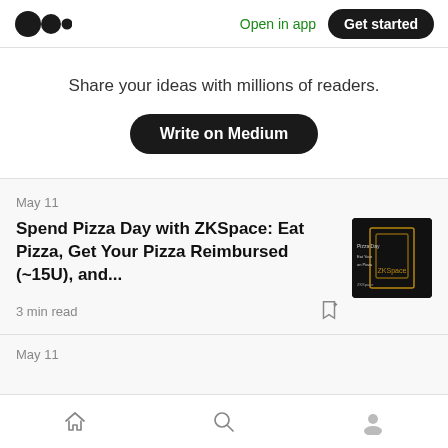Medium logo | Open in app | Get started
Share your ideas with millions of readers.
Write on Medium
May 11
Spend Pizza Day with ZKSpace: Eat Pizza, Get Your Pizza Reimbursed (~15U), and...
3 min read
May 11
Home | Search | Profile